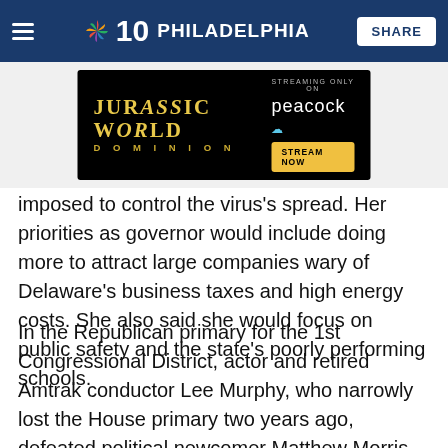NBC10 Philadelphia | SHARE
[Figure (screenshot): Advertisement banner for Jurassic World Dominion streaming on Peacock with 'Stream Now' button]
imposed to control the virus's spread. Her priorities as governor would include doing more to attract large companies wary of Delaware's business taxes and high energy costs. She also said she would focus on public safety and the state's poorly performing schools.
In the Republican primary for the 1st Congressional District, actor and retired Amtrak conductor Lee Murphy, who narrowly lost the House primary two years ago, defeated political newcomer Matthew Morris on Tuesday and advances to face incumbent Democrat Lisa Blunt Rochester in November.